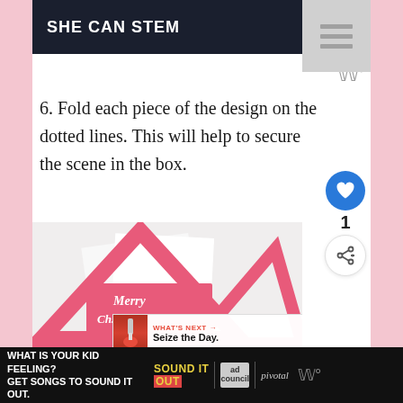SHE CAN STEM
6. Fold each piece of the design on the dotted lines. This will help to secure the scene in the box.
[Figure (photo): Pink paper cut Merry Christmas scene with triangular frame design on white background]
WHAT IS YOUR KID FEELING? GET SONGS TO SOUND IT OUT. | SOUND IT OUT | ad council | pivotal